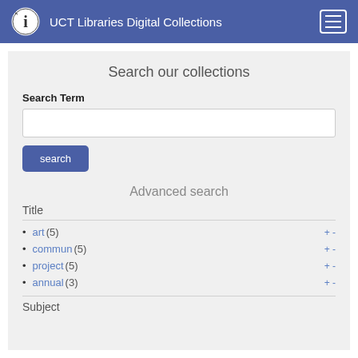UCT Libraries Digital Collections
Search our collections
Search Term
Advanced search
Title
art (5)
commun (5)
project (5)
annual (3)
Subject